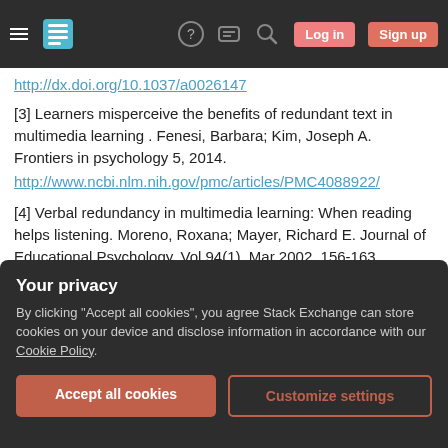Stack Exchange navigation bar with Log in and Sign up buttons
http://dx.doi.org/10.1037/a0026147
[3] Learners misperceive the benefits of redundant text in multimedia learning . Fenesi, Barbara; Kim, Joseph A. Frontiers in psychology 5, 2014. http://www.ncbi.nlm.nih.gov/pmc/articles/PMC4088922/
[4] Verbal redundancy in multimedia learning: When reading helps listening. Moreno, Roxana; Mayer, Richard E. Journal of Educational Psychology, Vol 94(1), Mar 2002, 156-163.
Your privacy
By clicking "Accept all cookies", you agree Stack Exchange can store cookies on your device and disclose information in accordance with our Cookie Policy.
Accept all cookies  Customize settings